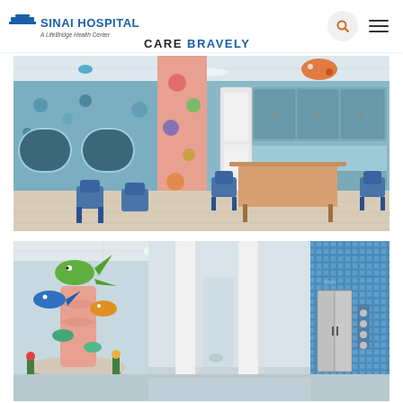SINAI HOSPITAL | A LifeBridge Health Center | CARE BRAVELY
[Figure (photo): Interior of a pediatric hospital playroom with colorful decorative column wrapped in coral/sea creature artwork, blue walls with sea life murals, blue chairs, wooden table, and medical cabinetry in the background.]
[Figure (photo): Hospital lobby with a colorful sculpture of sea creatures (fish, seahorse) in pink and green tones, white columns, open hallway, and a blue mosaic-tiled elevator area on the right.]